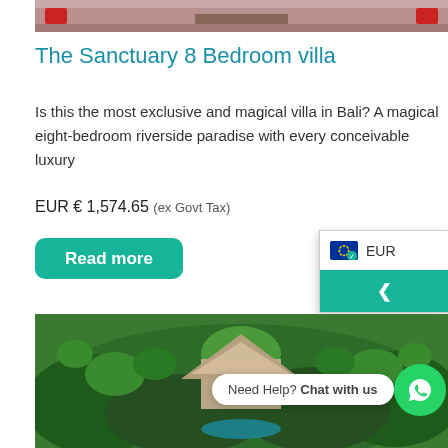[Figure (photo): Top portion of a villa interior photo showing cushioned seating with red cushions]
The Sanctuary 8 Bedroom villa
Is this the most exclusive and magical villa in Bali? A magical eight-bedroom riverside paradise with every conceivable luxury
EUR € 1,574.65 (ex Govt Tax)
Read more
EUR
[Figure (photo): Aerial view of a Balinese villa with tropical gardens and pool surrounded by palm trees]
Need Help? Chat with us